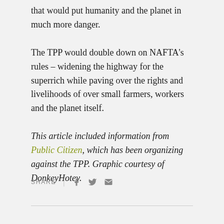that would put humanity and the planet in much more danger.
The TPP would double down on NAFTA's rules – widening the highway for the superrich while paving over the rights and livelihoods of over small farmers, workers and the planet itself.
This article included information from Public Citizen, which has been organizing against the TPP. Graphic courtesy of DonkeyHotey.
SHARE | [social icons: Facebook, Twitter, Email]